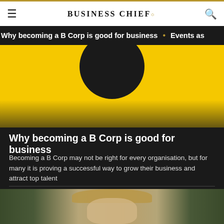BUSINESS CHIEF.
Why becoming a B Corp is good for business • Events as
[Figure (photo): Yellow background with large dark circular B Corp logo element at top, fading shadow at bottom]
Why becoming a B Corp is good for business
Becoming a B Corp may not be right for every organisation, but for many it is proving a successful way to grow their business and attract top talent
[Figure (photo): Portrait photo of a young man with brown hair against a green outdoor background]